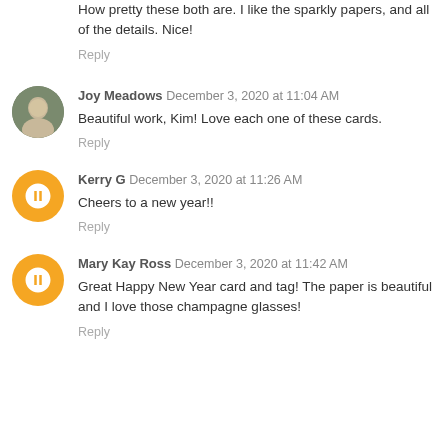How pretty these both are. I like the sparkly papers, and all of the details. Nice!
Reply
Joy Meadows December 3, 2020 at 11:04 AM
Beautiful work, Kim! Love each one of these cards.
Reply
Kerry G December 3, 2020 at 11:26 AM
Cheers to a new year!!
Reply
Mary Kay Ross December 3, 2020 at 11:42 AM
Great Happy New Year card and tag! The paper is beautiful and I love those champagne glasses!
Reply